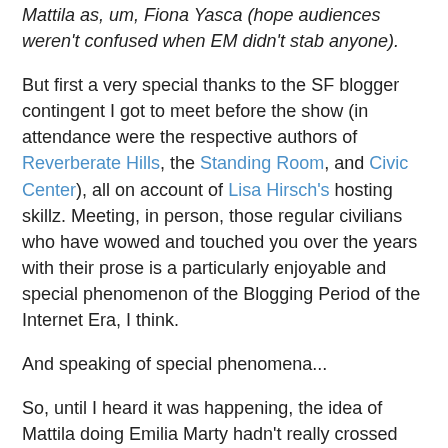Mattila as, um, Fiona Yasca (hope audiences weren't confused when EM didn't stab anyone).
But first a very special thanks to the SF blogger contingent I got to meet before the show (in attendance were the respective authors of Reverberate Hills, the Standing Room, and Civic Center), all on account of Lisa Hirsch's hosting skillz. Meeting, in person, those regular civilians who have wowed and touched you over the years with their prose is a particularly enjoyable and special phenomenon of the Blogging Period of the Internet Era, I think.
And speaking of special phenomena...
So, until I heard it was happening, the idea of Mattila doing Emilia Marty hadn't really crossed my mind for some reason. My only reference was the Anja Silja DVD, and that kind of thing doesn't really inspire daydreaming about who else would be good in something.
My b.
I think I've read this in every review, but it is such a visceral